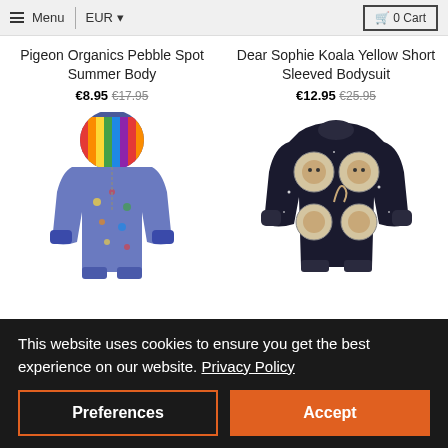Menu | EUR | 0 Cart
Pigeon Organics Pebble Spot Summer Body €8.95 €17.95
Dear Sophie Koala Yellow Short Sleeved Bodysuit €12.95 €25.95
[Figure (photo): Colorful hooded baby onesie with multicolor stripe hood and floral print]
[Figure (photo): Dark navy long sleeved bodysuit with space cat/koala print in circular astronaut helmets]
This website uses cookies to ensure you get the best experience on our website. Privacy Policy
Preferences
Accept